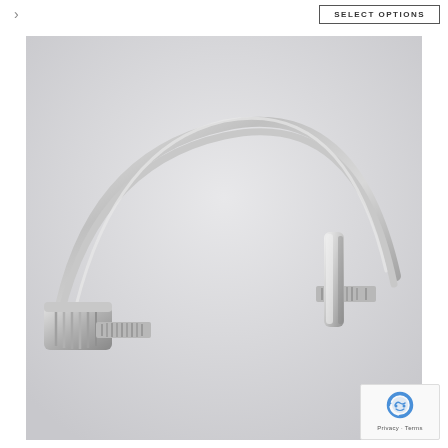[Figure (other): Navigation arrow pointing right, partially visible at top left of page]
[Figure (other): SELECT OPTIONS button with border, top right area]
[Figure (photo): Close-up product photo of a silver open-ended cuff bracelet with nail/arrow design ends, photographed against a light grey background. The bracelet has a smooth curved band with textured/ridged ends resembling a nail head on the left and a vertical bar on the right.]
[Figure (other): Google reCAPTCHA badge with robot icon and Privacy - Terms text, bottom right corner]